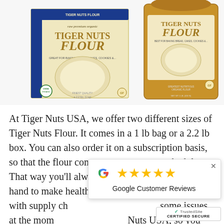[Figure (photo): Two Tiger Nuts Flour products: a cream-colored box (2.2 lb) on the left with blue USDA Organic seal and gold lettering 'raw premium organic TIGER NUTS FLOUR GREAT FOR BAKING BREAD, CAKES, COOKIES &...' and a brown kraft bag (1 lb) on the right with 'TIGER NUTS FLOUR BEST FOR BAKING BREAD, CAKES, COOKIES &...' Both show a circular image of flour and gluten-free badge.]
At Tiger Nuts USA, we offer two different sizes of Tiger Nuts Flour. It comes in a 1 lb bag or a 2.2 lb box. You can also order it on a subscription basis, so that the flour comes to you on a set schedule. That way you'll always have Tiger Nuts Flour on hand to make healthy meals and snacks with. Even with supply ch[ain disruptions causing] some issues at the mom[ent, we stock Tiger] Nuts USA, so you don't h[ave to worry about getting] this amazing flour.
[Figure (screenshot): Google Customer Reviews popup with 5 gold stars and Google 'G' logo]
[Figure (logo): TrustedSite CERTIFIED SECURE badge in bottom right corner]